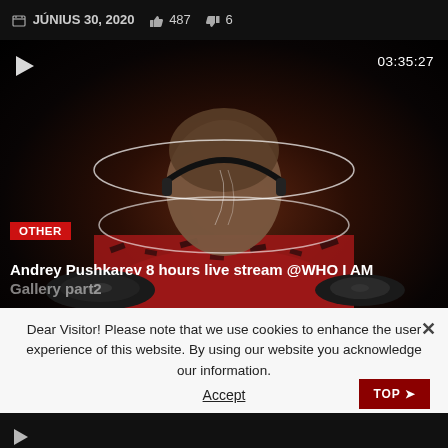JÚNIUS 30, 2020  👍 487  👎 6
[Figure (screenshot): Video thumbnail showing a DJ from behind wearing headphones with halo ring graphics, red/patterned shirt, dark background. Play button and timestamp 03:35:27 visible. Badge 'OTHER' and title 'Andrey Pushkarev 8 hours live stream @WHO I AM Gallery part2' overlaid at bottom.]
Dear Visitor! Please note that we use cookies to enhance the user experience of this website. By using our website you acknowledge our information.
Accept